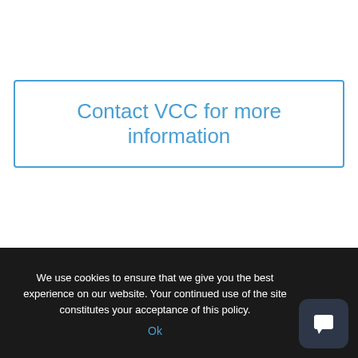[Figure (other): A rectangular button with a blue border and blue text reading 'Contact VCC for more information']
We use cookies to ensure that we give you the best experience on our website. Your continued use of the site constitutes your acceptance of this policy.
Ok